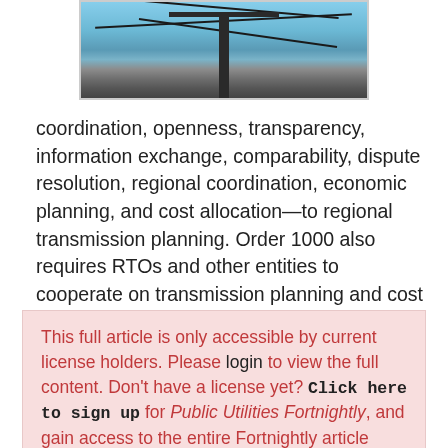[Figure (photo): Photograph of a utility/power transmission pole with wires against a blue sky background, shown partially at top of page]
coordination, openness, transparency, information exchange, comparability, dispute resolution, regional coordination, economic planning, and cost allocation—to regional transmission planning. Order 1000 also requires RTOs and other entities to cooperate on transmission planning and cost allocation matters, and requires regions to adopt a form of “beneficiaries pay” cost allocation to ensure that transmission costs are allocated to beneficiaries, commensurate with estimated benefits.
This full article is only accessible by current license holders. Please login to view the full content. Don't have a license yet? Click here to sign up for Public Utilities Fortnightly, and gain access to the entire Fortnightly article database online.